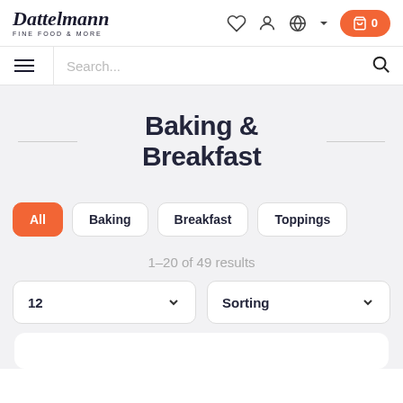Dattelmann FINE FOOD & MORE
Search...
Baking & Breakfast
All
Baking
Breakfast
Toppings
1–20 of 49 results
12
Sorting